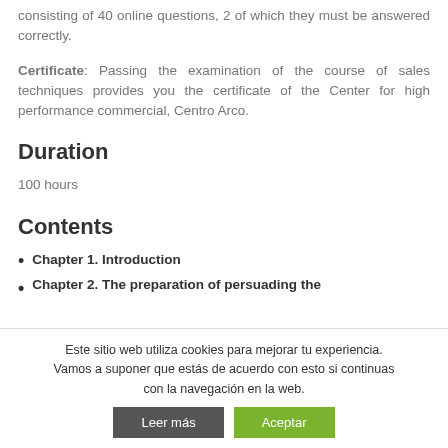consisting of 40 online questions, 2 of which they must be answered correctly.
Certificate: Passing the examination of the course of sales techniques provides you the certificate of the Center for high performance commercial, Centro Arco.
Duration
100 hours
Contents
Chapter 1. Introduction
Chapter 2. The preparation of persuading the
Este sitio web utiliza cookies para mejorar tu experiencia. Vamos a suponer que estás de acuerdo con esto si continuas con la navegación en la web.